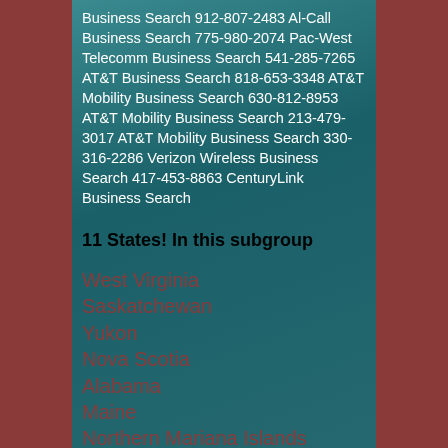Business Search 912-807-2483 Al-Call Business Search 775-980-2074 Pac-West Telecomm Business Search 541-285-7265 AT&T Business Search 818-653-3348 AT&T Mobility Business Search 630-812-8953 AT&T Mobility Business Search 213-479-3017 AT&T Mobility Business Search 330-316-2286 Verizon Wireless Business Search 417-453-8863 CenturyLink Business Search
11 States! In this subgroup
West Virginia
Saskatchewan
Yukon
Nova Scotia
Alabama
Maine
Northern Mariana Islands
Nebraska